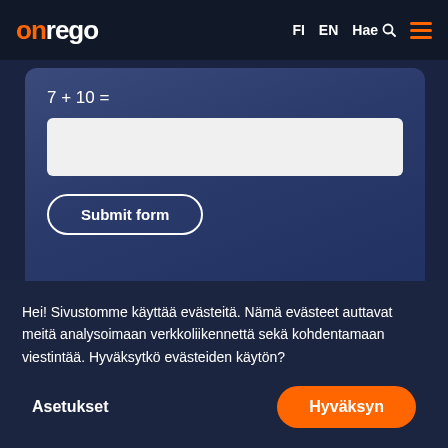[Figure (logo): onrego logo with 'on' in orange and 'rego' in white]
FI  EN  Hae  ☰
[Figure (screenshot): White text input field for math captcha answer]
Submit form
How do we process this information? Read our privacy policy.
Hei! Sivustomme käyttää evästeitä. Nämä evästeet auttavat meitä analysoimaan verkkoliikennettä sekä kohdentamaan viestintää. Hyväksytkö evästeiden käytön?
Asetukset
Hyväksyn